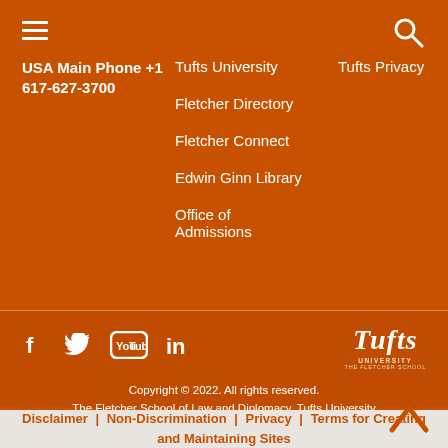USA Main Phone +1 617-627-3700
Tufts University
Fletcher Directory
Fletcher Connect
Edwin Ginn Library
Office of Admissions
Tufts Privacy
[Figure (logo): Tufts University wordmark logo in white italic bold text with subtitle]
Copyright © 2022. All rights reserved.
The Fletcher School of Law and Diplomacy, Tufts University
Disclaimer | Non-Discrimination | Privacy | Terms for Creating and Maintaining Sites